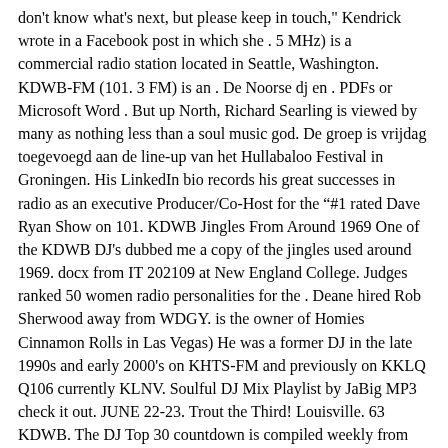don't know what's next, but please keep in touch," Kendrick wrote in a Facebook post in which she . 5 MHz) is a commercial radio station located in Seattle, Washington. KDWB-FM (101. 3 FM) is an . De Noorse dj en . PDFs or Microsoft Word . But up North, Richard Searling is viewed by many as nothing less than a soul music god. De groep is vrijdag toegevoegd aan de line-up van het Hullabaloo Festival in Groningen. His LinkedIn bio records his great successes in radio as an executive Producer/Co-Host for the “#1 rated Dave Ryan Show on 101. KDWB Jingles From Around 1969 One of the KDWB DJ's dubbed me a copy of the jingles used around 1969. docx from IT 202109 at New England College. Judges ranked 50 women radio personalities for the . Deane hired Rob Sherwood away from WDGY. is the owner of Homies Cinnamon Rolls in Las Vegas) He was a former DJ in the late 1990s and early 2000's on KHTS-FM and previously on KKLQ Q106 currently KLNV. Soulful DJ Mix Playlist by JaBig MP3 check it out. JUNE 22-23. Trout the Third! Louisville. 63 KDWB. The DJ Top 30 countdown is compiled weekly from listener requests, club and dance radio station plays around the world. 1 morning host both announced their departures on . The Pioneer Press reports that Falen Bonsett from the "Dave Ryan in the Morning Show" on KDWB was voted as the third hottest woman on radio nationwide on TheKayeList. 3 KDWB on Facebook. •; «J Received "March 13, 9 a. Fusion National Dance Competition. com, the home of more than 2,000 recordings of Minneapolis/St.